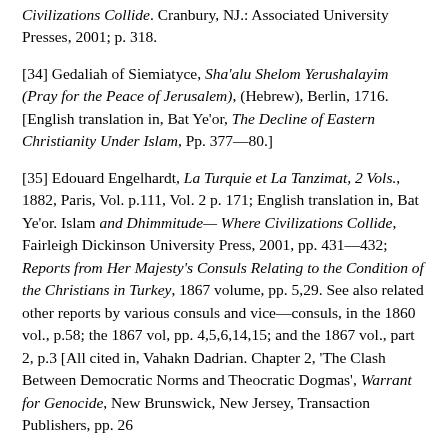Civilizations Collide. Cranbury, NJ.: Associated University Presses, 2001; p. 318.
[34] Gedaliah of Siemiatyce, Sha'alu Shelom Yerushalayim (Pray for the Peace of Jerusalem), (Hebrew), Berlin, 1716. [English translation in, Bat Ye'or, The Decline of Eastern Christianity Under Islam, Pp. 377—80.]
[35] Edouard Engelhardt, La Turquie et La Tanzimat, 2 Vols., 1882, Paris, Vol. p.111, Vol. 2 p. 171; English translation in, Bat Ye'or. Islam and Dhimmitude— Where Civilizations Collide, Fairleigh Dickinson University Press, 2001, pp. 431—432; Reports from Her Majesty's Consuls Relating to the Condition of the Christians in Turkey, 1867 volume, pp. 5,29. See also related other reports by various consuls and vice—consuls, in the 1860 vol., p.58; the 1867 vol, pp. 4,5,6,14,15; and the 1867 vol., part 2, p.3 [All cited in, Vahakn Dadrian. Chapter 2, 'The Clash Between Democratic Norms and Theocratic Dogmas', Warrant for Genocide, New Brunswick, New Jersey, Transaction Publishers, pp. 26